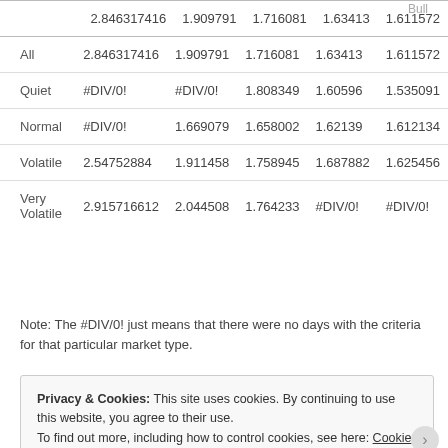|  | Bull |
| --- | --- |
| All | 2.846317416 | 1.909791 | 1.716081 | 1.63413 | 1.611572 |
| Quiet | #DIV/0! | #DIV/0! | 1.808349 | 1.60596 | 1.535091 |
| Normal | #DIV/0! | 1.669079 | 1.658002 | 1.62139 | 1.612134 |
| Volatile | 2.54752884 | 1.911458 | 1.758945 | 1.687882 | 1.625456 |
| Very Volatile | 2.915716612 | 2.044508 | 1.764233 | #DIV/0! | #DIV/0! |
Note: The #DIV/0! just means that there were no days with the criteria for that particular market type.
Privacy & Cookies: This site uses cookies. By continuing to use this website, you agree to their use.
To find out more, including how to control cookies, see here: Cookie Policy
Close and accept